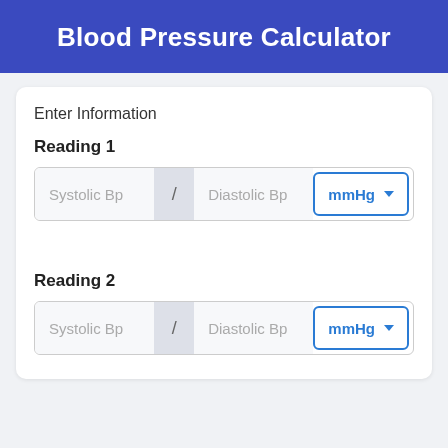Blood Pressure Calculator
Enter Information
Reading 1
Systolic Bp / Diastolic Bp mmHg
Reading 2
Systolic Bp / Diastolic Bp mmHg